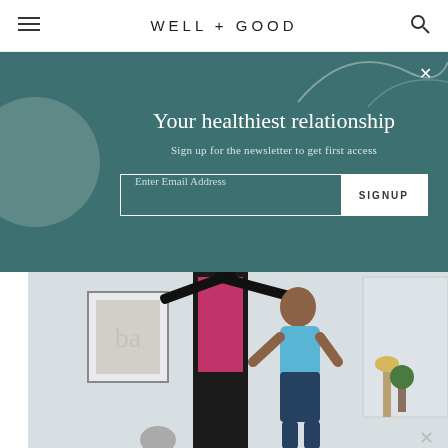WELL+GOOD
Your healthiest relationship
Sign up for the newsletter to get first access
Enter Email Address  SIGNUP
[Figure (photo): Woman working out at home using a wall-mounted cable machine with an interactive screen showing a fitness class. She is wearing a blue sports top and dark shorts, exercising in a bright living room.]